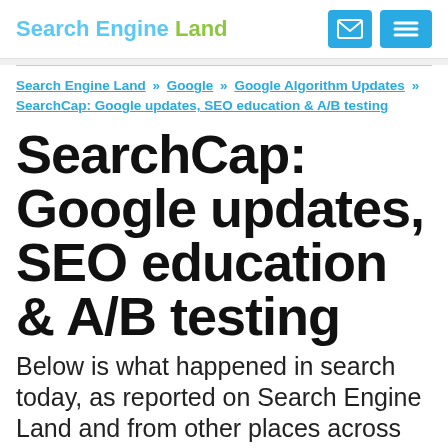Search Engine Land
Search Engine Land » Google » Google Algorithm Updates » SearchCap: Google updates, SEO education & A/B testing
SearchCap: Google updates, SEO education & A/B testing
Below is what happened in search today, as reported on Search Engine Land and from other places across the web.